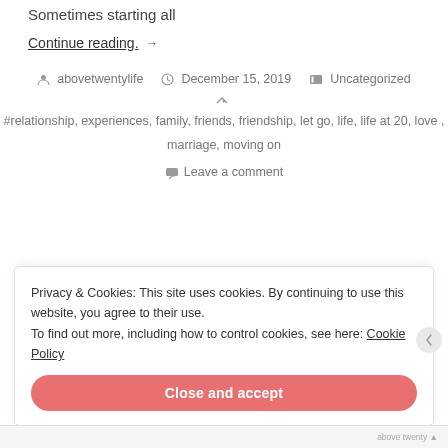Sometimes starting all
Continue reading. →
abovetwentylife   December 15, 2019   Uncategorized
#relationship, experiences, family, friends, friendship, let go, life, life at 20, love , marriage, moving on
Leave a comment
Privacy & Cookies: This site uses cookies. By continuing to use this website, you agree to their use.
To find out more, including how to control cookies, see here: Cookie Policy
Close and accept